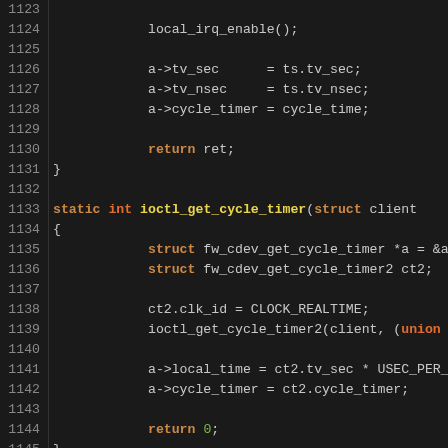[Figure (screenshot): Source code viewer showing C code lines 1123-1152 with syntax highlighting on dark background. Functions ioctl_get_cycle_timer and iso_resource_work are visible.]